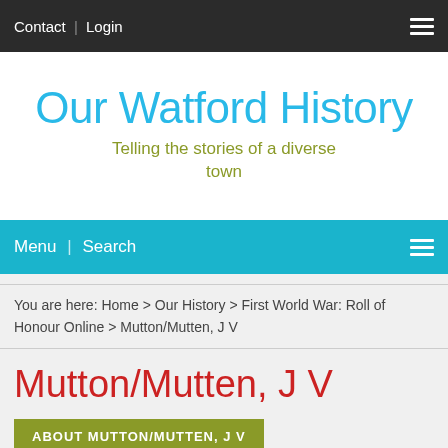Contact | Login
Our Watford History
Telling the stories of a diverse town
Menu | Search
You are here: Home > Our History > First World War: Roll of Honour Online > Mutton/Mutten, J V
Mutton/Mutten, J V
ABOUT MUTTON/MUTTEN, J V